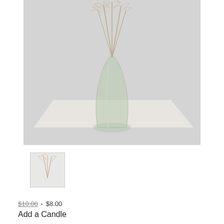[Figure (photo): A tall slender glass bud vase with pampas grass stems arranged inside it, sitting on a white surface against a light gray background.]
[Figure (photo): Small thumbnail image showing pampas grass stems, a secondary product image.]
$10.00  •  $8.00
Add a Candle